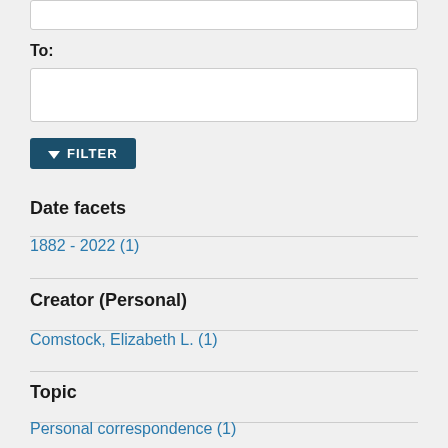To:
FILTER
Date facets
1882 - 2022 (1)
Creator (Personal)
Comstock, Elizabeth L. (1)
Topic
Personal correspondence (1)